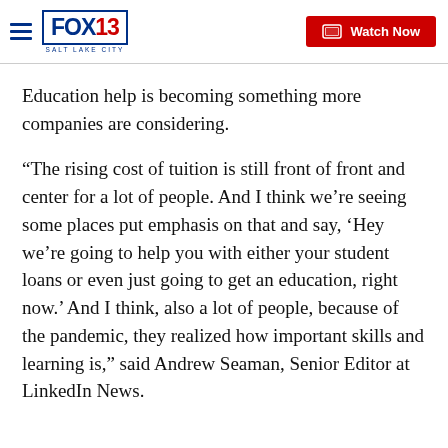FOX 13 SALT LAKE CITY — Watch Now
Education help is becoming something more companies are considering.
“The rising cost of tuition is still front of front and center for a lot of people. And I think we’re seeing some places put emphasis on that and say, ‘Hey we’re going to help you with either your student loans or even just going to get an education, right now.’ And I think, also a lot of people, because of the pandemic, they realized how important skills and learning is,” said Andrew Seaman, Senior Editor at LinkedIn News.